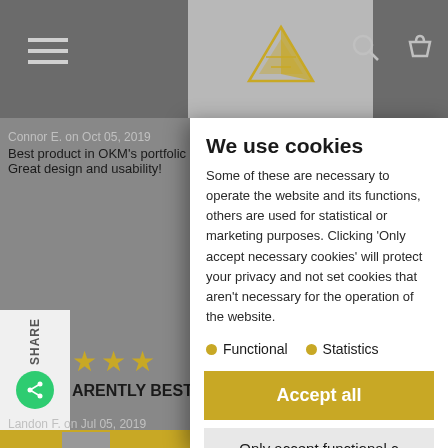[Figure (screenshot): Background website page showing OKM product reviews, navigation bar with hamburger menu, logo, search and cart icons, star ratings, and gold 'Find your' button bar. Partially obscured by cookie consent modal overlay.]
We use cookies
Some of these are necessary to operate the website and its functions, others are used for statistical or marketing purposes. Clicking 'Only accept necessary cookies' will protect your privacy and not set cookies that aren't necessary for the operation of the website.
Functional
Statistics
Accept all
Only accept functional c